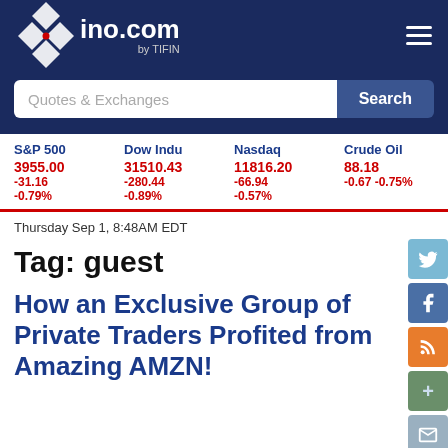ino.com by TIFIN
Quotes & Exchanges
| S&P 500 | Dow Indu | Nasdaq | Crude Oil |
| --- | --- | --- | --- |
| 3955.00 | 31510.43 | 11816.20 | 88.18 |
| -31.16 | -280.44 | -66.94 | -0.67 -0.75% |
| -0.79% | -0.89% | -0.57% |  |
Thursday Sep 1, 8:48AM EDT
Tag: guest
How an Exclusive Group of Private Traders Profited from Amazing AMZN!